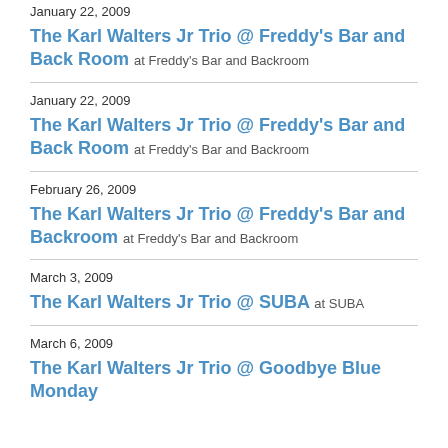January 22, 2009
The Karl Walters Jr Trio @ Freddy's Bar and Back Room at Freddy's Bar and Backroom
January 22, 2009
The Karl Walters Jr Trio @ Freddy's Bar and Back Room at Freddy's Bar and Backroom
February 26, 2009
The Karl Walters Jr Trio @ Freddy's Bar and Backroom at Freddy's Bar and Backroom
March 3, 2009
The Karl Walters Jr Trio @ SUBA at SUBA
March 6, 2009
The Karl Walters Jr Trio @ Goodbye Blue Monday